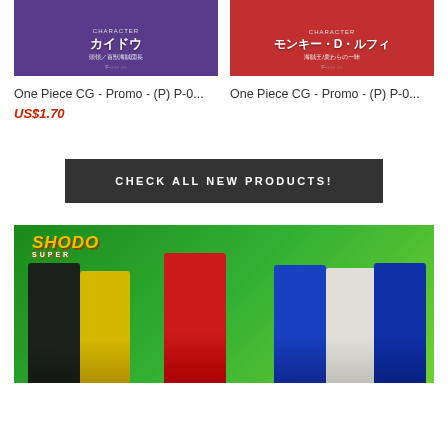[Figure (photo): One Piece card - Kaidou character card with purple background and Japanese text]
One Piece CG - Promo - (P) P-0...
US$1.70
[Figure (photo): One Piece card - Monkey D. Luffy character card with red background and Japanese text]
One Piece CG - Promo - (P) P-0...
CHECK ALL NEW PRODUCTS!
[Figure (photo): Shodo Super Power Rangers action figures promotional banner with green background showing multiple ranger figures]